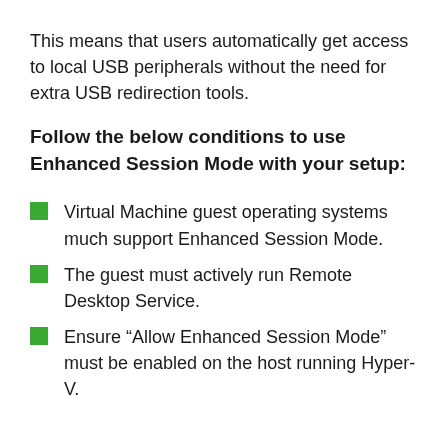This means that users automatically get access to local USB peripherals without the need for extra USB redirection tools.
Follow the below conditions to use Enhanced Session Mode with your setup:
Virtual Machine guest operating systems much support Enhanced Session Mode.
The guest must actively run Remote Desktop Service.
Ensure “Allow Enhanced Session Mode” must be enabled on the host running Hyper-V.